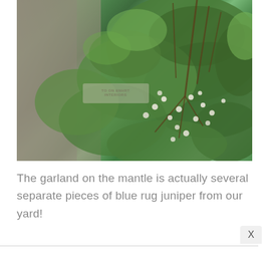[Figure (photo): Close-up photograph of blue rug juniper branches with fine needle-like green foliage and small white/cream colored berries or buds, against a rocky stone background. A semi-transparent watermark label is visible in the center-lower portion of the image.]
The garland on the mantle is actually several separate pieces of blue rug juniper from our yard!